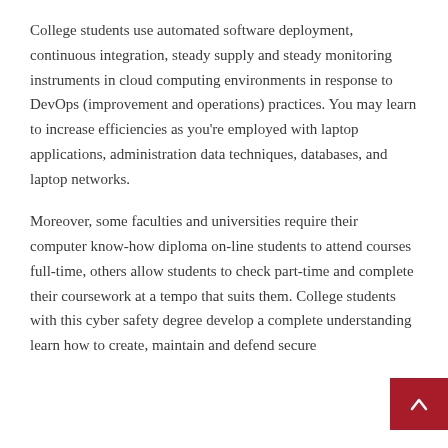College students use automated software deployment, continuous integration, steady supply and steady monitoring instruments in cloud computing environments in response to DevOps (improvement and operations) practices. You may learn to increase efficiencies as you're employed with laptop applications, administration data techniques, databases, and laptop networks.
Moreover, some faculties and universities require their computer know-how diploma on-line students to attend courses full-time, others allow students to check part-time and complete their coursework at a tempo that suits them. College students with this cyber safety degree develop a complete understanding learn how to create, maintain and defend secure